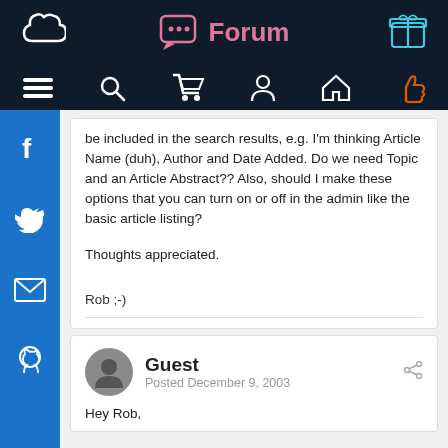Forum
be included in the search results, e.g. I'm thinking Article Name (duh), Author and Date Added. Do we need Topic and an Article Abstract?? Also, should I make these options that you can turn on or off in the admin like the basic article listing?
Thoughts appreciated.
Rob ;-)
Guest
Posted December 9, 2003
Hey Rob,